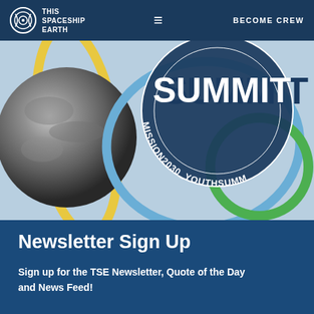THIS SPACESHIP EARTH | BECOME CREW
[Figure (illustration): Hero banner with light blue background showing a grey Earth globe on the left, overlapping decorative rings in yellow, blue, and green, a dark navy circular badge with text MISSION2030_YOUTHSUMM and SUMMIT text prominently displayed]
Newsletter Sign Up
Sign up for the TSE Newsletter, Quote of the Day and News Feed!